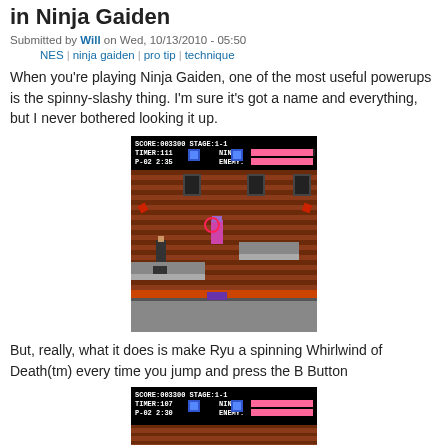in Ninja Gaiden
Submitted by Will on Wed, 10/13/2010 - 05:50
NES | ninja gaiden | pro tip | technique
When you're playing Ninja Gaiden, one of the most useful powerups is the spinny-slashy thing. I'm sure it's got a name and everything, but I never bothered looking it up.
[Figure (screenshot): NES Ninja Gaiden gameplay screenshot showing SCORE:003300 STAGE:1-1, TIMER:111, NINJA health bar, P-02, 2:35, ENEMY health bar. Ryu and enemy character on brick wall platform level.]
But, really, what it does is make Ryu a spinning Whirlwind of Death(tm) every time you jump and press the B Button
[Figure (screenshot): NES Ninja Gaiden gameplay screenshot showing SCORE:003300 STAGE:1-1, TIMER:107, NINJA health bar, P-02, 2:30, ENEMY health bar.]